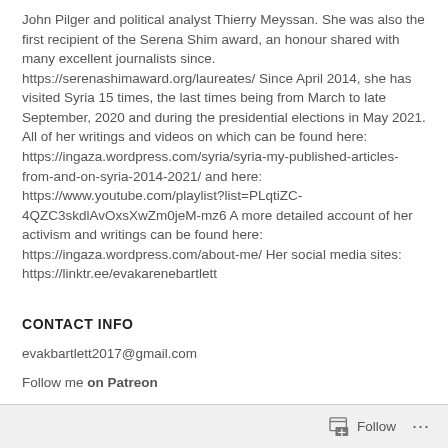John Pilger and political analyst Thierry Meyssan. She was also the first recipient of the Serena Shim award, an honour shared with many excellent journalists since. https://serenashimaward.org/laureates/ Since April 2014, she has visited Syria 15 times, the last times being from March to late September, 2020 and during the presidential elections in May 2021. All of her writings and videos on which can be found here: https://ingaza.wordpress.com/syria/syria-my-published-articles-from-and-on-syria-2014-2021/ and here: https://www.youtube.com/playlist?list=PLqtiZC-4QZC3skdlAvOxsXwZm0jeM-mz6 A more detailed account of her activism and writings can be found here: https://ingaza.wordpress.com/about-me/ Her social media sites: https://linktr.ee/evakarenebartlett
CONTACT INFO
evakbartlett2017@gmail.com
Follow me on Patreon
Follow ···